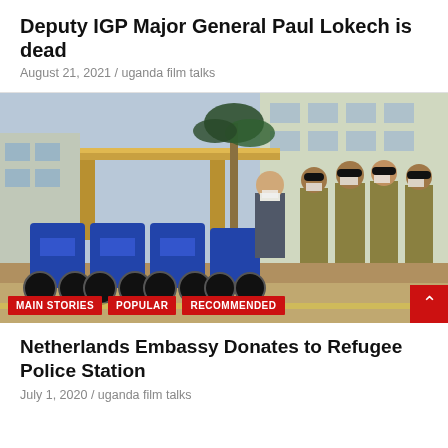Deputy IGP Major General Paul Lokech is dead
August 21, 2021 / uganda film talks
[Figure (photo): Photo showing officials in military/police uniforms standing near blue motorcycles in front of a government building, with a man in a suit and face mask addressing them. Tags 'MAIN STORIES', 'POPULAR', 'RECOMMENDED' appear at the bottom of the image.]
Netherlands Embassy Donates to Refugee Police Station
July 1, 2020 / uganda film talks